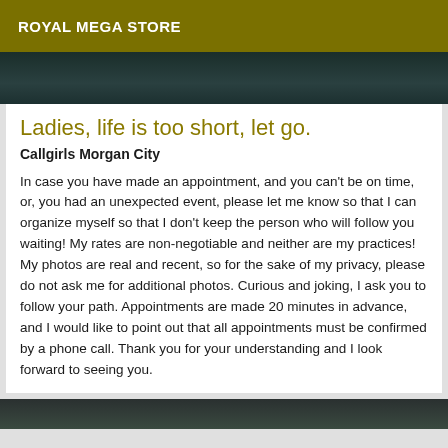ROYAL MEGA STORE
[Figure (photo): Dark-toned photo, top portion visible]
Ladies, life is too short, let go.
Callgirls Morgan City
In case you have made an appointment, and you can't be on time, or, you had an unexpected event, please let me know so that I can organize myself so that I don't keep the person who will follow you waiting! My rates are non-negotiable and neither are my practices! My photos are real and recent, so for the sake of my privacy, please do not ask me for additional photos. Curious and joking, I ask you to follow your path. Appointments are made 20 minutes in advance, and I would like to point out that all appointments must be confirmed by a phone call. Thank you for your understanding and I look forward to seeing you.
[Figure (photo): Dark-toned photo, bottom portion visible]